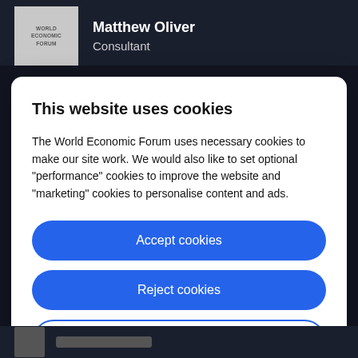[Figure (logo): World Economic Forum logo in a grey square box]
Matthew Oliver
Consultant
This website uses cookies
The World Economic Forum uses necessary cookies to make our site work. We would also like to set optional "performance" cookies to improve the website and "marketing" cookies to personalise content and ads.
Accept cookies
Reject cookies
Cookie settings